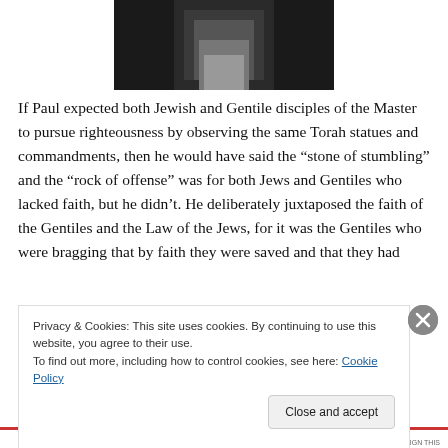[Figure (photo): Partial photo of a person, cropped to show lower body/torso area in dark tones]
If Paul expected both Jewish and Gentile disciples of the Master to pursue righteousness by observing the same Torah statues and commandments, then he would have said the “stone of stumbling” and the “rock of offense” was for both Jews and Gentiles who lacked faith, but he didn’t. He deliberately juxtaposed the faith of the Gentiles and the Law of the Jews, for it was the Gentiles who were bragging that by faith they were saved and that they had
Privacy & Cookies: This site uses cookies. By continuing to use this website, you agree to their use.
To find out more, including how to control cookies, see here: Cookie Policy
Close and accept